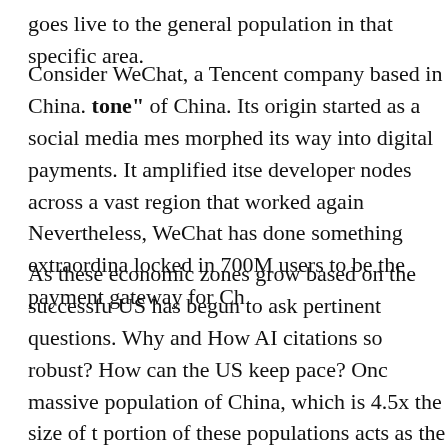goes live to the general population in that specific area.
Consider WeChat, a Tencent company based in China. tone" of China. Its origin started as a social media mes morphed its way into digital payments. It amplified itse developer nodes across a vast region that worked again Nevertheless, WeChat has done something extraordina locked in 700M users to be the payment gateway for Ch
As these economic zones grow based on the successfu US has begun to ask pertinent questions. Why and How AI citations so robust? How can the US keep pace? Onc massive population of China, which is 4.5x the size of t portion of these populations acts as the technological a massive networks to adapt and pioneer innovation. Th more technologically just based on the enormous com